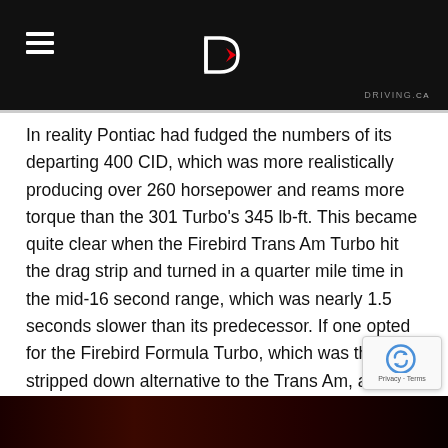[Figure (screenshot): Dark header bar with hamburger menu icon on the left, a logo (stylized letter D with a red accent) in the center, and a watermark text 'DRIVING.CA' on the lower right.]
In reality Pontiac had fudged the numbers of its departing 400 CID, which was more realistically producing over 260 horsepower and reams more torque than the 301 Turbo's 345 lb-ft. This became quite clear when the Firebird Trans Am Turbo hit the drag strip and turned in a quarter mile time in the mid-16 second range, which was nearly 1.5 seconds slower than its predecessor. If one opted for the Firebird Formula Turbo, which was the stripped down alternative to the Trans Am, a few tenths of a second of extra daylight opened up between the two cars. Fully-loaded Indy 500 Pace Car replicas were the most languid, and most expensive, of all Trans Am Turbos with their T-tops and long list of options.
[Figure (photo): Dark image with red-orange gradient at the bottom, appears to be a car photo.]